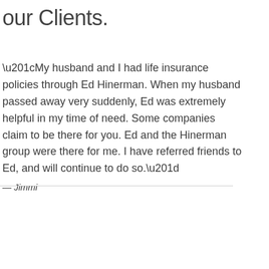our Clients.
“My husband and I had life insurance policies through Ed Hinerman. When my husband passed away very suddenly, Ed was extremely helpful in my time of need. Some companies claim to be there for you. Ed and the Hinerman group were there for me. I have referred friends to Ed, and will continue to do so.”
— Jimmi